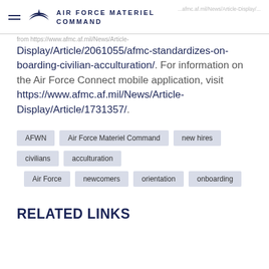Air Force Materiel Command
Display/Article/2061055/afmc-standardizes-on-boarding-civilian-acculturation/. For information on the Air Force Connect mobile application, visit https://www.afmc.af.mil/News/Article-Display/Article/1731357/.
AFWN
Air Force Materiel Command
new hires
civilians
acculturation
Air Force
newcomers
orientation
onboarding
RELATED LINKS